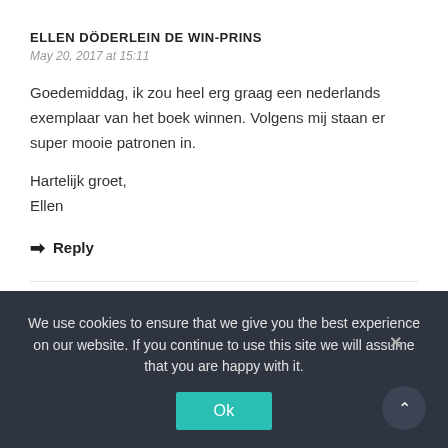ELLEN DÖDERLEIN DE WIN-PRINS
May 20, 2017 at 15:11
Goedemiddag, ik zou heel erg graag een nederlands exemplaar van het boek winnen. Volgens mij staan er super mooie patronen in.
Hartelijk groet,
Ellen
Reply
JACCI HALL
May 20, 2017 at 15:18
We use cookies to ensure that we give you the best experience on our website. If you continue to use this site we will assume that you are happy with it.